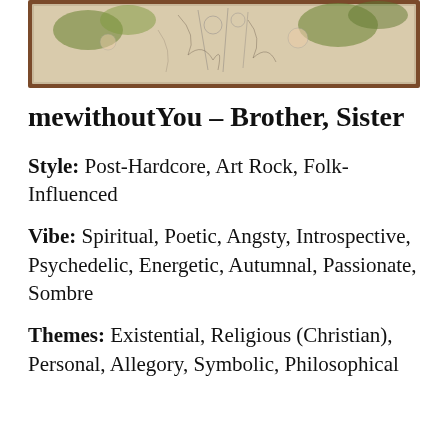[Figure (illustration): Album artwork for mewithoutYou – Brother, Sister. A detailed illustrated/painted artwork with figures and plant motifs in earth tones, enclosed in a brown border frame.]
mewithoutYou – Brother, Sister
Style: Post-Hardcore, Art Rock, Folk-Influenced
Vibe: Spiritual, Poetic, Angsty, Introspective, Psychedelic, Energetic, Autumnal, Passionate, Sombre
Themes: Existential, Religious (Christian), Personal, Allegory, Symbolic, Philosophical